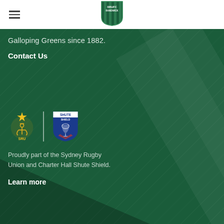[Figure (logo): DRUFC Randwick rugby club shield logo in green and white at top center nav]
Galloping Greens since 1882.
Contact Us
[Figure (logo): SRU (Sydney Rugby Union) anchor star logo and Shute Shield blue shield logo side by side with vertical divider]
Proudly part of the Sydney Rugby Union and Charter Hall Shute Shield.
Learn more